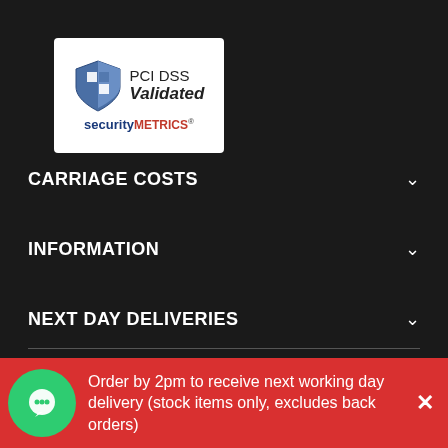[Figure (logo): PCI DSS Validated badge from SecurityMetrics, showing a blue shield with checkmark and the text PCI DSS Validated security METRICS]
CARRIAGE COSTS
INFORMATION
NEXT DAY DELIVERIES
TELEPHONE
Order by 2pm to receive next working day delivery (stock items only, excludes back orders)